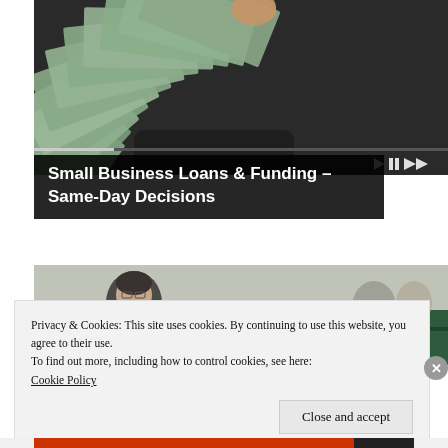[Figure (photo): A hand holding and fanning out US$100 dollar bills, viewed from above on a dark background]
Small Business Loans & Funding – Same-Day Decisions
[Figure (photo): A man in a suit leaning forward at what appears to be a legislative or conference setting with green-covered desks]
Privacy & Cookies: This site uses cookies. By continuing to use this website, you agree to their use.
To find out more, including how to control cookies, see here:
Cookie Policy
Close and accept